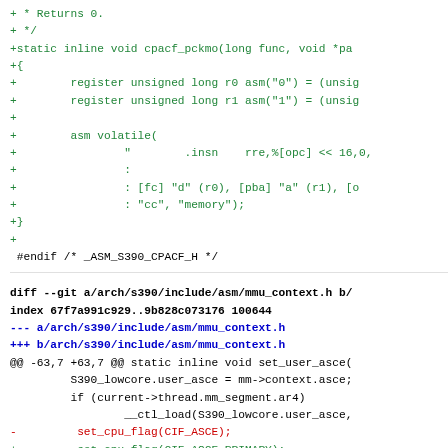[Figure (other): Git diff code snippet showing added C code for cpacf_pckmo function with inline assembly, followed by a diff for mmu_context.h changing set_cpu_flag(CIF_ASCE) to set_cpu_flag(CIF_ASCE_PRIMARY)]